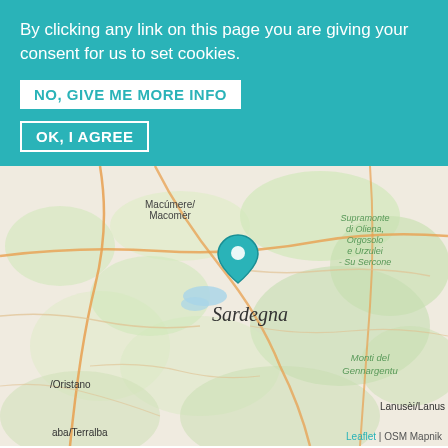By clicking any link on this page you are giving your consent for us to set cookies.
NO, GIVE ME MORE INFO
OK, I AGREE
[Figure (map): Interactive map of Sardinia region, Italy, showing terrain and roads. A teal location pin is placed on the island labeled 'Sardegna'. Visible labels include Macumere/Macomer (top left), Supramonte di Oliena, Orgosolo e Urzulei - Su Sercone (top right), Monti del Gennargentu (right center), /Oristano (bottom left), Lanusèi/Lanus (bottom right), aba/Terralba (bottom left). Attribution: Leaflet | OSM Mapnik.]